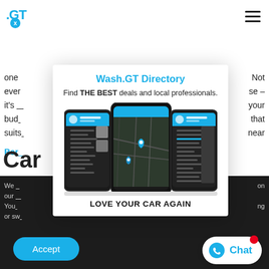[Figure (screenshot): Website page screenshot showing Wash.GT car wash directory app with navigation logo and hamburger menu]
Wash.GT Directory
Find THE BEST deals and local professionals.
[Figure (screenshot): Three smartphone screens showing the Wash.GT mobile app interface with map view and menu navigation]
LOVE YOUR CAR AGAIN
Accept
Chat